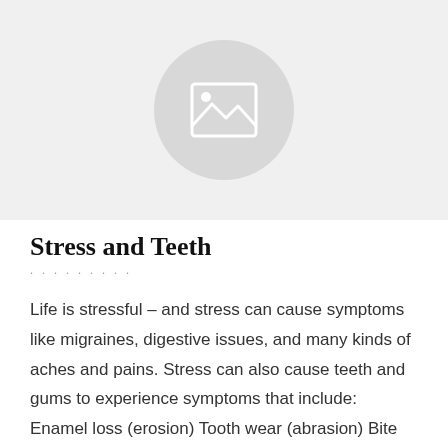[Figure (photo): Placeholder image with a grey circle containing a landscape/image icon on a light grey background]
Stress and Teeth
Life is stressful – and stress can cause symptoms like migraines, digestive issues, and many kinds of aches and pains. Stress can also cause teeth and gums to experience symptoms that include: Enamel loss (erosion) Tooth wear (abrasion) Bite problems with sensitivity at the gum line